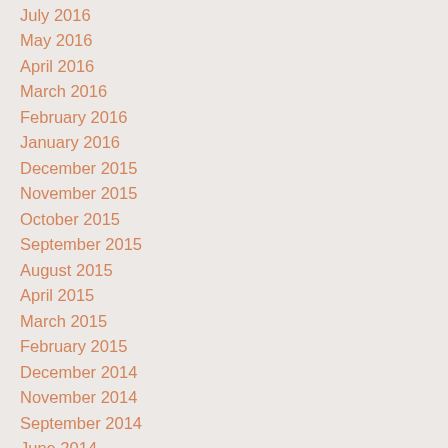July 2016
May 2016
April 2016
March 2016
February 2016
January 2016
December 2015
November 2015
October 2015
September 2015
August 2015
April 2015
March 2015
February 2015
December 2014
November 2014
September 2014
June 2014
April 2014